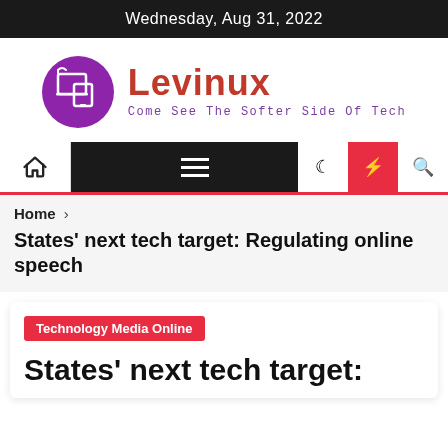Wednesday, Aug 31, 2022
[Figure (logo): Levinux logo: purple circle with laptop/device icons, text 'Levinux' in red bold and tagline 'Come See The Softer Side Of Tech' in purple monospace]
[Figure (infographic): Navigation bar with home icon, hamburger menu on black background, moon icon, lightning bolt on red background, search icon]
Home > States' next tech target: Regulating online speech
States' next tech target: Regulating online speech
Technology Media Online
States' next tech target: